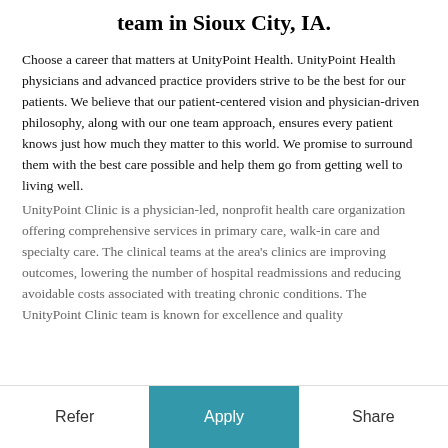team in Sioux City, IA.
Choose a career that matters at UnityPoint Health. UnityPoint Health physicians and advanced practice providers strive to be the best for our patients. We believe that our patient-centered vision and physician-driven philosophy, along with our one team approach, ensures every patient knows just how much they matter to this world. We promise to surround them with the best care possible and help them go from getting well to living well.
UnityPoint Clinic is a physician-led, nonprofit health care organization offering comprehensive services in primary care, walk-in care and specialty care. The clinical teams at the area's clinics are improving outcomes, lowering the number of hospital readmissions and reducing avoidable costs associated with treating chronic conditions. The UnityPoint Clinic team is known for excellence and quality
Refer | Apply | Share